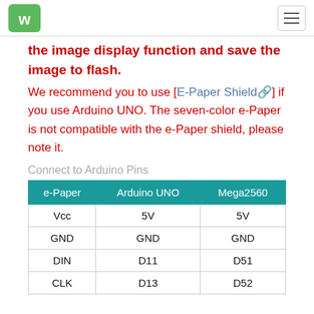Waveshare logo and navigation
the image display function and save the image to flash.
We recommend you to use [E-Paper Shield] if you use Arduino UNO. The seven-color e-Paper is not compatible with the e-Paper shield, please note it.
Connect to Arduino Pins
| e-Paper | Arduino UNO | Mega2560 |
| --- | --- | --- |
| Vcc | 5V | 5V |
| GND | GND | GND |
| DIN | D11 | D51 |
| CLK | D13 | D52 |